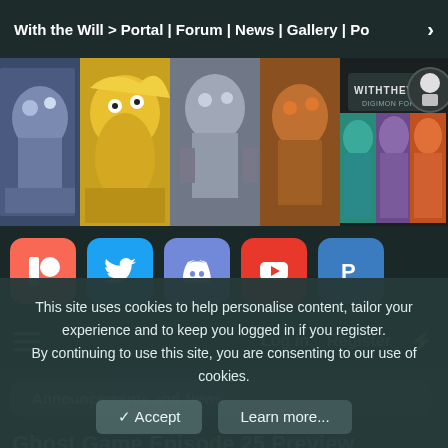With the Will > Portal | Forum | News | Gallery | Po >
[Figure (screenshot): With the Will Digimon Forums banner with multiple Digimon characters and the site logo]
[Figure (infographic): Social media buttons: Patreon, Twitter, Discord, YouTube, PayPal]
Log in  Register ⚡
Announcements and News
Ghost Game Episode 25 Preview Screenshots
This site uses cookies to help personalise content, tailor your experience and to keep you logged in if you register.
By continuing to use this site, you are consenting to our use of cookies.
✓ Accept    Learn more...